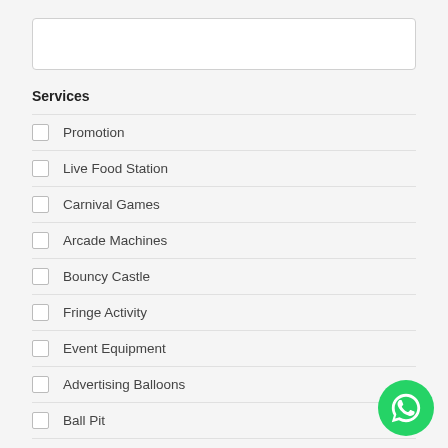Services
Promotion
Live Food Station
Carnival Games
Arcade Machines
Bouncy Castle
Fringe Activity
Event Equipment
Advertising Balloons
Ball Pit
Carnival Rides
Event Management